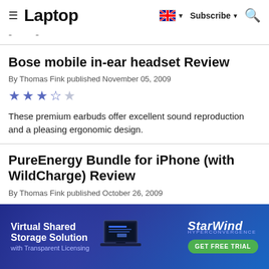Laptop — Subscribe
- -
Bose mobile in-ear headset Review
By Thomas Fink published November 05, 2009
[Figure (other): 3.5 out of 5 stars rating]
These premium earbuds offer excellent sound reproduction and a pleasing ergonomic design.
PureEnergy Bundle for iPhone (with WildCharge) Review
By Thomas Fink published October 26, 2009
[Figure (infographic): Advertisement banner: Virtual Shared Storage Solution with Transparent Licensing — StarWind Hyperconvergence — GET FREE TRIAL button]